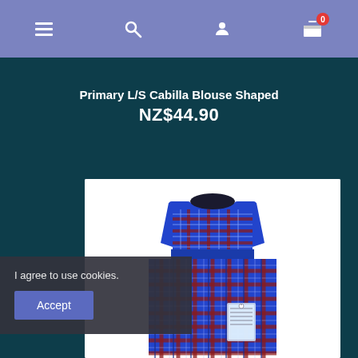Navigation bar with menu, search, account, and cart (0 items) icons
Primary L/S Cabilla Blouse Shaped
NZ$44.90
[Figure (photo): School uniform pinafore dress in blue and red tartan/plaid pattern, sleeveless, with pleated skirt, shown on white background with product tag visible]
I agree to use cookies.
Accept